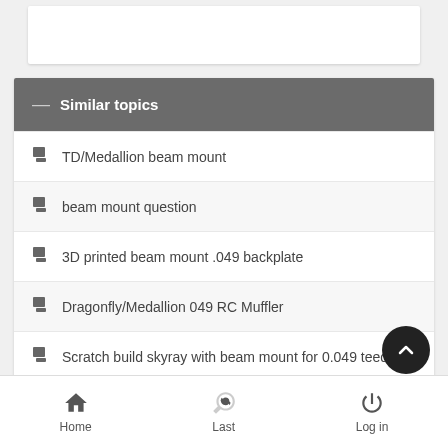Similar topics
TD/Medallion beam mount
beam mount question
3D printed beam mount .049 backplate
Dragonfly/Medallion 049 RC Muffler
Scratch build skyray with beam mount for 0.049 teedee
Home  Last  Log in